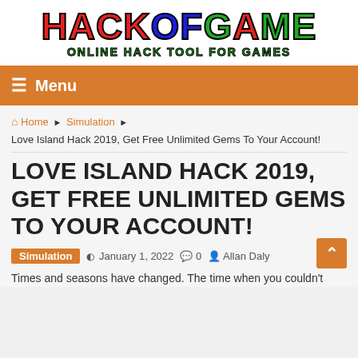[Figure (logo): HackOfGame logo with colorful text: HACK in red, OF in blue, GAME in green/red, subtitle 'ONLINE HACK TOOL FOR GAMES' in green]
≡ Menu
🏠 Home ▶ Simulation ▶ Love Island Hack 2019, Get Free Unlimited Gems To Your Account!
LOVE ISLAND HACK 2019, GET FREE UNLIMITED GEMS TO YOUR ACCOUNT!
Simulation  🕐 January 1, 2022  💬 0  👤 Allan Daly
Times and seasons have changed. The time when you couldn't